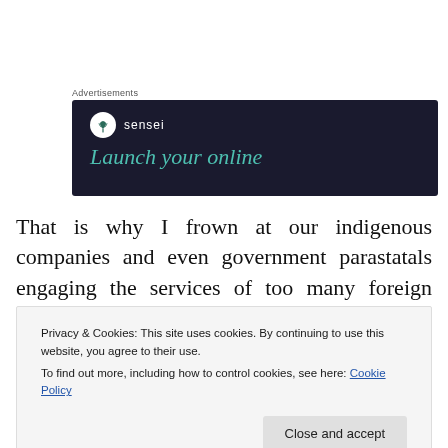Advertisements
[Figure (illustration): Advertisement banner with dark navy background. Sensei logo (tree icon in white circle) and brand name 'sensei' in white. Tagline 'Launch your online' in teal italic serif font.]
That is why I frown at our indigenous companies and even government parastatals engaging the services of too many foreign forensic experts to track fraud because we are
Privacy & Cookies: This site uses cookies. By continuing to use this website, you agree to their use.
To find out more, including how to control cookies, see here: Cookie Policy
Close and accept
b…